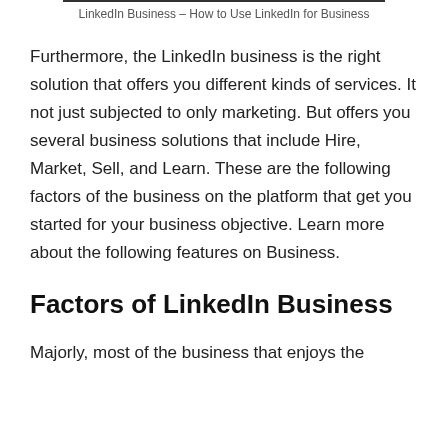LinkedIn Business – How to Use LinkedIn for Business
Furthermore, the LinkedIn business is the right solution that offers you different kinds of services. It not just subjected to only marketing. But offers you several business solutions that include Hire, Market, Sell, and Learn. These are the following factors of the business on the platform that get you started for your business objective. Learn more about the following features on Business.
Factors of LinkedIn Business
Majorly, most of the business that enjoys the